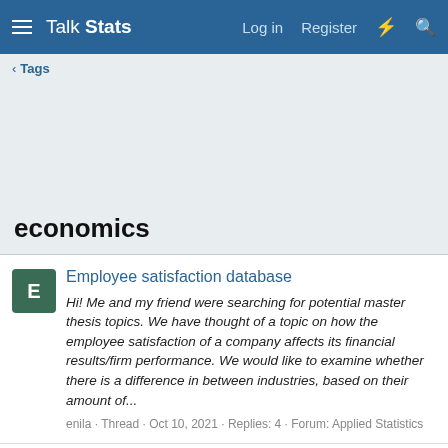Talk Stats — Log in  Register
< Tags
economics
Employee satisfaction database
Hi! Me and my friend were searching for potential master thesis topics. We have thought of a topic on how the employee satisfaction of a company affects its financial results/firm performance. We would like to examine whether there is a difference in between industries, based on their amount of...
enila · Thread · Oct 10, 2021 · Replies: 4 · Forum: Applied Statistics
eQualityCoin- What type of model is this?
Hi everyone, I've been working on developing a crypto-currency